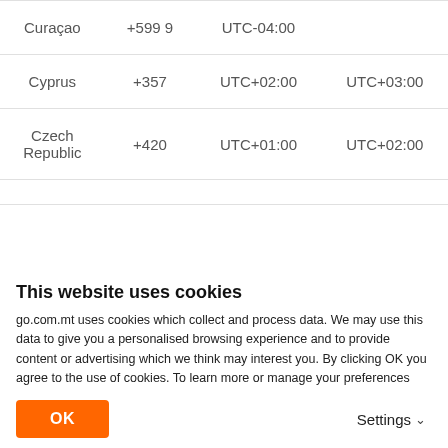| Country | Code | UTC Offset | DST Offset |
| --- | --- | --- | --- |
| Curaçao | +599 9 | UTC-04:00 |  |
| Cyprus | +357 | UTC+02:00 | UTC+03:00 |
| Czech Republic | +420 | UTC+01:00 | UTC+02:00 |
This website uses cookies
go.com.mt uses cookies which collect and process data. We may use this data to give you a personalised browsing experience and to provide content or advertising which we think may interest you. By clicking OK you agree to the use of cookies. To learn more or manage your preferences you may visit our Cookies Policy and our Privacy Policy.